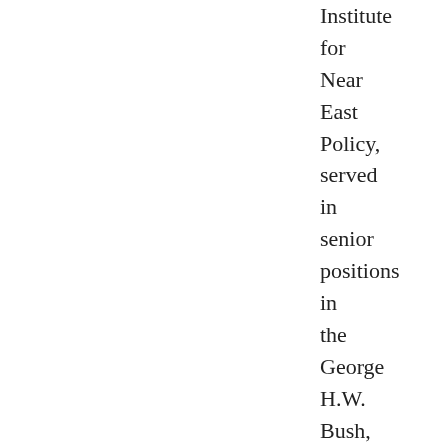Institute for Near East Policy, served in senior positions in the George H.W. Bush, Clinton and Obama Administrations.
2016-02-10